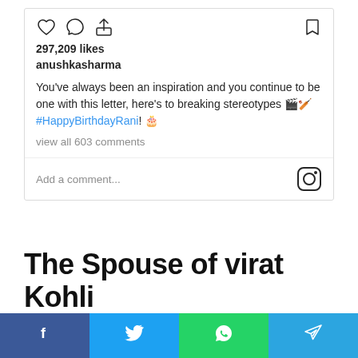[Figure (screenshot): Instagram post interaction area showing like, comment, share icons, bookmark icon, 297,209 likes, username anushkasharma, post caption about inspiration and breaking stereotypes with hashtag #HappyBirthdayRani, view all 603 comments, and add a comment bar with Instagram logo]
The Spouse of virat Kohli
[Figure (infographic): Social media share bar with four buttons: Facebook (blue), Twitter (light blue), WhatsApp (green), Telegram (blue)]